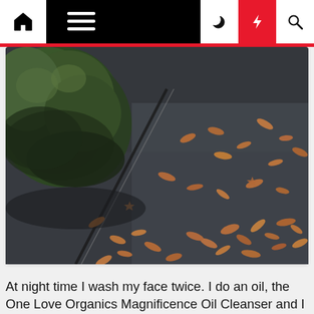Navigation bar with home, menu, dark mode, lightning, and search icons
[Figure (photo): Close-up photo of autumn/fall dried leaves scattered on dark pavement/asphalt, with green moss or shrub visible in the upper left corner]
At night time I wash my face twice. I do an oil, the One Love Organics Magnificence Oil Cleanser and I